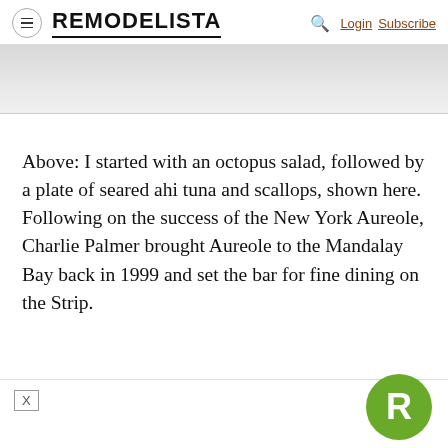REMODELISTA  Login  Subscribe
[Figure (photo): Partial view of a food photo, showing a light-colored plate or surface, mostly cropped out]
Above: I started with an octopus salad, followed by a plate of seared ahi tuna and scallops, shown here. Following on the success of the New York Aureole, Charlie Palmer brought Aureole to the Mandalay Bay back in 1999 and set the bar for fine dining on the Strip.
[Figure (logo): Remodelista circular green badge with white letter R]